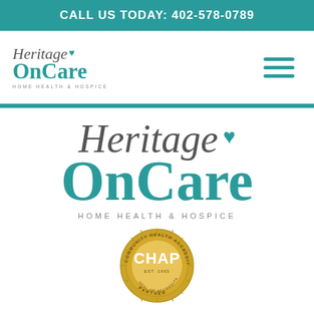CALL US TODAY: 402-578-0789
[Figure (logo): Heritage OnCare Home Health & Hospice small logo in navigation bar]
[Figure (logo): Hamburger menu icon (three teal horizontal lines)]
[Figure (logo): Heritage OnCare Home Health & Hospice large logo centered on page]
[Figure (logo): CHAP Community Health Accreditation Partner gold seal badge, EST. 1965]